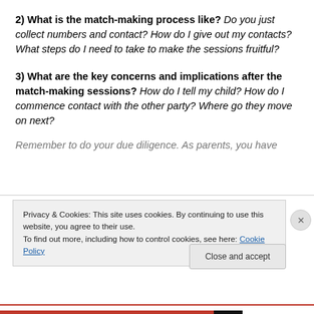2) What is the match-making process like? Do you just collect numbers and contact? How do I give out my contacts? What steps do I need to take to make the sessions fruitful?
3) What are the key concerns and implications after the match-making sessions? How do I tell my child? How do I commence contact with the other party? Where go they move on next?
Remember to do your due diligence. As parents, you have
Privacy & Cookies: This site uses cookies. By continuing to use this website, you agree to their use.
To find out more, including how to control cookies, see here: Cookie Policy
Close and accept